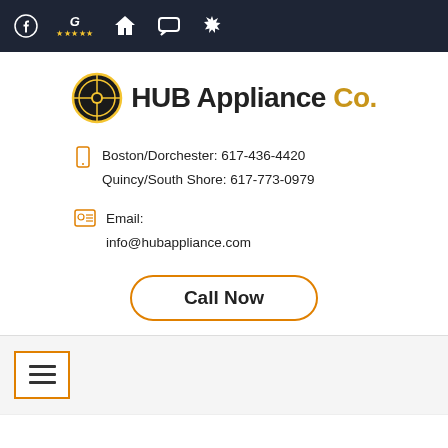Navigation bar with social media icons: Facebook, Google (5 stars), HomeAdvisor, chat icon, Yelp
[Figure (logo): HUB Appliance Co. logo with Boston Bruins-style circular icon and text]
Boston/Dorchester: 617-436-4420
Quincy/South Shore: 617-773-0979
Email:
info@hubappliance.com
Call Now
[Figure (other): Hamburger menu button with orange border]